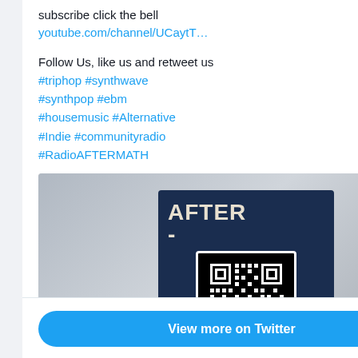subscribe click the bell
youtube.com/channel/UCaytT…
Follow Us, like us and retweet us
#triphop #synthwave #synthpop #ebm #housemusic #Alternative #Indie #communityradio #RadioAFTERMATH
[Figure (photo): Photo of a 3D printed or laser-cut 'AFTERMATH' sign/plaque with a QR code on a dark navy blue background, text reads AFTER on top and MATH on bottom]
2
View more on Twitter